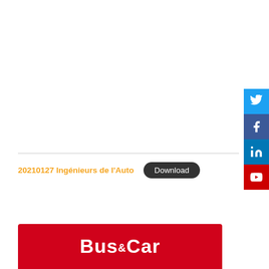[Figure (infographic): Social media icons column on right side: Twitter (blue), Facebook (dark blue), LinkedIn (blue), YouTube (red)]
20210127 Ingénieurs de l'Auto
Download
[Figure (logo): Bus & Car logo on red background, white bold text reading 'Bus & Car']